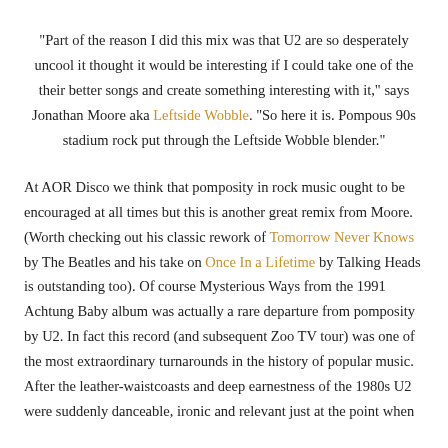"Part of the reason I did this mix was that U2 are so desperately uncool it thought it would be interesting if I could take one of the their better songs and create something interesting with it," says Jonathan Moore aka Leftside Wobble. "So here it is. Pompous 90s stadium rock put through the Leftside Wobble blender."
At AOR Disco we think that pomposity in rock music ought to be encouraged at all times but this is another great remix from Moore. (Worth checking out his classic rework of Tomorrow Never Knows by The Beatles and his take on Once In a Lifetime by Talking Heads is outstanding too). Of course Mysterious Ways from the 1991 Achtung Baby album was actually a rare departure from pomposity by U2. In fact this record (and subsequent Zoo TV tour) was one of the most extraordinary turnarounds in the history of popular music. After the leather-waistcoasts and deep earnestness of the 1980s U2 were suddenly danceable, ironic and relevant just at the point when